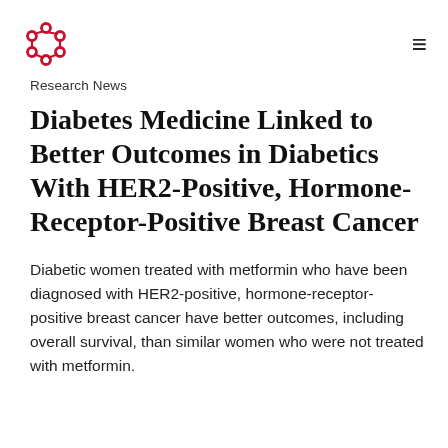[Logo] [Menu icon]
Research News
Diabetes Medicine Linked to Better Outcomes in Diabetics With HER2-Positive, Hormone-Receptor-Positive Breast Cancer
Diabetic women treated with metformin who have been diagnosed with HER2-positive, hormone-receptor-positive breast cancer have better outcomes, including overall survival, than similar women who were not treated with metformin.